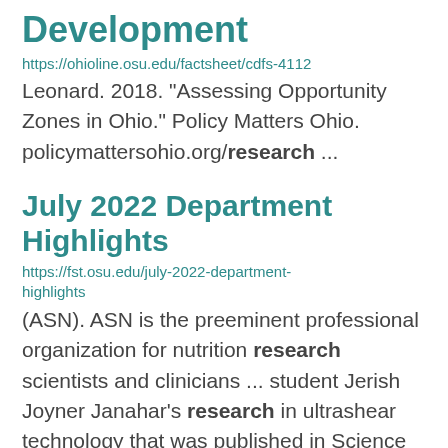Development
https://ohioline.osu.edu/factsheet/cdfs-4112
Leonard. 2018. "Assessing Opportunity Zones in Ohio." Policy Matters Ohio. policymattersohio.org/research ...
July 2022 Department Highlights
https://fst.osu.edu/july-2022-department-highlights
(ASN). ASN is the preeminent professional organization for nutrition research scientists and clinicians ... student Jerish Joyner Janahar's research in ultrashear technology that was published in Science Direct and ...